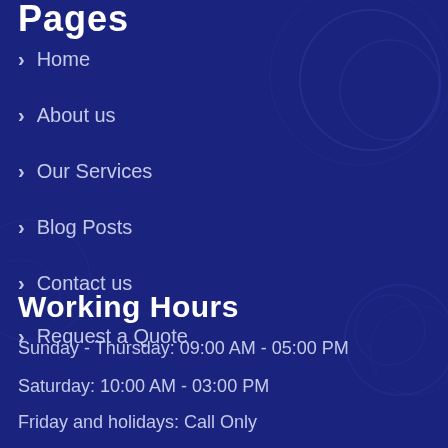Pages
Home
About us
Our Services
Blog Posts
Contact us
Request a Quote
Working Hours
Sunday - Thursday: 09:00 AM - 05:00 PM
Saturday: 10:00 AM - 03:00 PM
Friday and holidays: Call Only